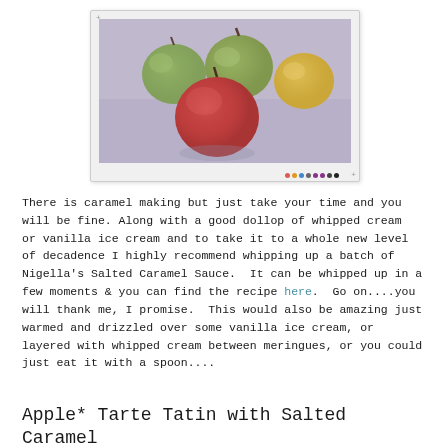[Figure (photo): Photo of several apples (red, green, and yellow-green varieties) on a purple/lavender surface, displayed in a white photo frame widget with navigation dots at the bottom]
There is caramel making but just take your time and you will be fine. Along with a good dollop of whipped cream  or vanilla ice cream and to take it to a whole new level of decadence I highly recommend whipping up a batch of Nigella's Salted Caramel Sauce.  It can be whipped up in a few moments & you can find the recipe here.  Go on....you will thank me, I promise.  This would also be amazing just warmed and drizzled over some vanilla ice cream, or layered with whipped cream between meringues, or you could just eat it with a spoon....
Apple* Tarte Tatin with Salted Caramel